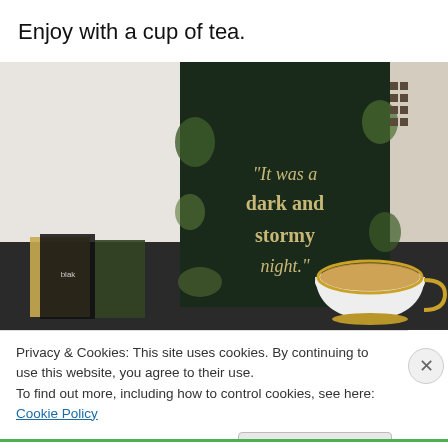Enjoy with a cup of tea.
[Figure (photo): A photo showing a dark book cover with the text 'It was a dark and stormy night.' along with a white teacup filled with tea and gold trim on a dark surface, with other books in the background.]
Privacy & Cookies: This site uses cookies. By continuing to use this website, you agree to their use.
To find out more, including how to control cookies, see here: Cookie Policy